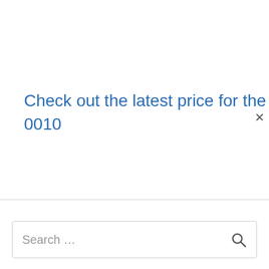Check out the latest price for the HP Pavilion 6 0010
× (close button)
← Previous Post
Next Post →
Search …